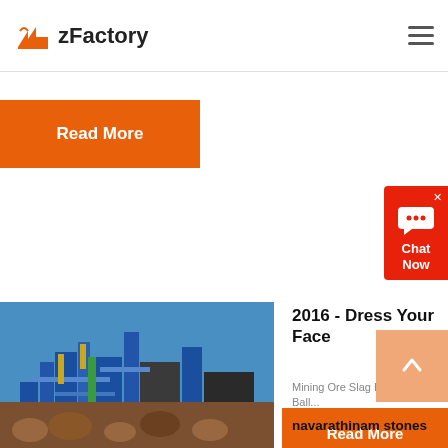zFactory
Read More
[Figure (screenshot): Chat Now widget with speech bubble icon and X close button, red background]
[Figure (photo): Industrial mining facility with blue steel structures and equipment under a clear blue sky]
2016 - Dress Your Face
Mining Ore Slag Ball Mill Slag Ball...
Read More
[Figure (photo): Ground-level photo showing rocks or stones]
navarathinam stones